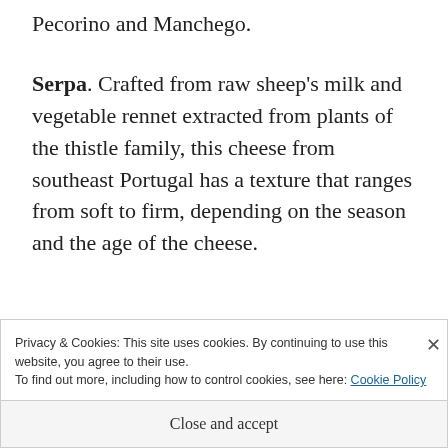Pecorino and Manchego.
Serpa. Crafted from raw sheep's milk and vegetable rennet extracted from plants of the thistle family, this cheese from southeast Portugal has a texture that ranges from soft to firm, depending on the season and the age of the cheese.
Privacy & Cookies: This site uses cookies. By continuing to use this website, you agree to their use.
To find out more, including how to control cookies, see here: Cookie Policy
Close and accept